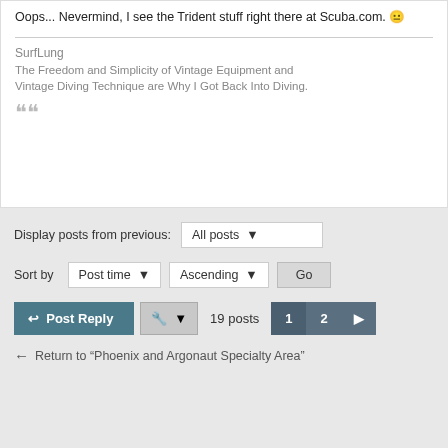Oops... Nevermind, I see the Trident stuff right there at Scuba.com. 😐
SurfLung
The Freedom and Simplicity of Vintage Equipment and Vintage Diving Technique are Why I Got Back Into Diving.
"
Display posts from previous:
All posts
Sort by
Post time
Ascending
Go
Post Reply
19 posts
1
2
Return to "Phoenix and Argonaut Specialty Area"